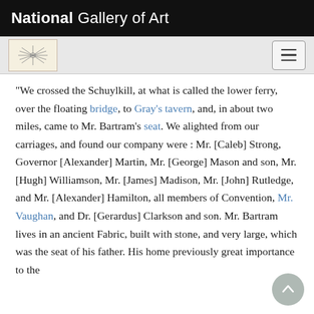National Gallery of Art
"We crossed the Schuylkill, at what is called the lower ferry, over the floating bridge, to Gray's tavern, and, in about two miles, came to Mr. Bartram's seat. We alighted from our carriages, and found our company were : Mr. [Caleb] Strong, Governor [Alexander] Martin, Mr. [George] Mason and son, Mr. [Hugh] Williamson, Mr. [James] Madison, Mr. [John] Rutledge, and Mr. [Alexander] Hamilton, all members of Convention, Mr. Vaughan, and Dr. [Gerardus] Clarkson and son. Mr. Bartram lives in an ancient Fabric, built with stone, and very large, which was the seat of his father. His home...